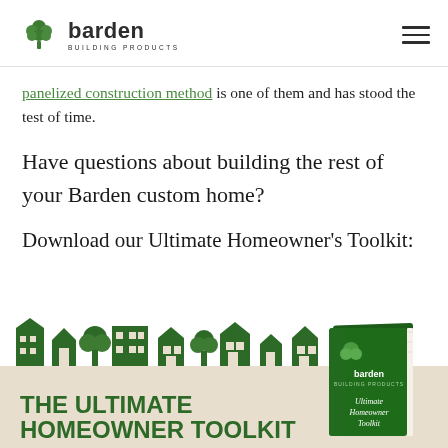barden BUILDING PRODUCTS
panelized construction method is one of them and has stood the test of time.
Have questions about building the rest of your Barden custom home?
Download our Ultimate Homeowner's Toolkit:
[Figure (illustration): The Ultimate Homeowner Toolkit promotional banner with house icons and a book mockup showing barden branding]